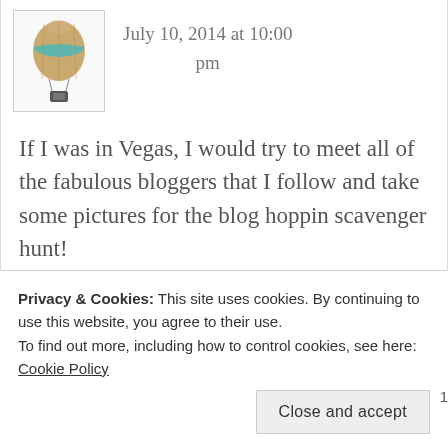[Figure (illustration): Hot air balloon avatar/logo illustration with gold balloon and teal stripe, small gondola at bottom]
July 10, 2014 at 10:00 pm
If I was in Vegas, I would try to meet all of the fabulous bloggers that I follow and take some pictures for the blog hoppin scavenger hunt!
Gina
Privacy & Cookies: This site uses cookies. By continuing to use this website, you agree to their use.
To find out more, including how to control cookies, see here: Cookie Policy
Close and accept